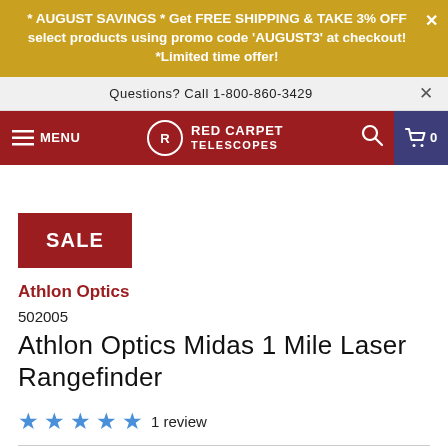* AUGUST SAVINGS * Get FREE SHIPPING & TAKE 3% OFF select products using promo code 'AUGUST3' at checkout! *Limited time offer!
Questions? Call 1-800-860-3429
[Figure (logo): Red Carpet Telescopes navigation bar with menu, logo, search, and cart icons]
SALE
Athlon Optics
502005
Athlon Optics Midas 1 Mile Laser Rangefinder
5 stars  1 review
$289.99  $362.49